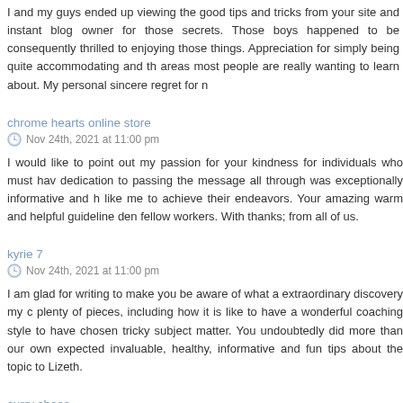I and my guys ended up viewing the good tips and tricks from your site and instant blog owner for those secrets. Those boys happened to be consequently thrilled to enjoying those things. Appreciation for simply being quite accommodating and th areas most people are really wanting to learn about. My personal sincere regret for n
chrome hearts online store
Nov 24th, 2021 at 11:00 pm
I would like to point out my passion for your kindness for individuals who must hav dedication to passing the message all through was exceptionally informative and h like me to achieve their endeavors. Your amazing warm and helpful guideline den fellow workers. With thanks; from all of us.
kyrie 7
Nov 24th, 2021 at 11:00 pm
I am glad for writing to make you be aware of what a extraordinary discovery my c plenty of pieces, including how it is like to have a wonderful coaching style to have chosen tricky subject matter. You undoubtedly did more than our own expected invaluable, healthy, informative and fun tips about the topic to Lizeth.
curry shoes
Nov 26th, 2021 at 1:14 am